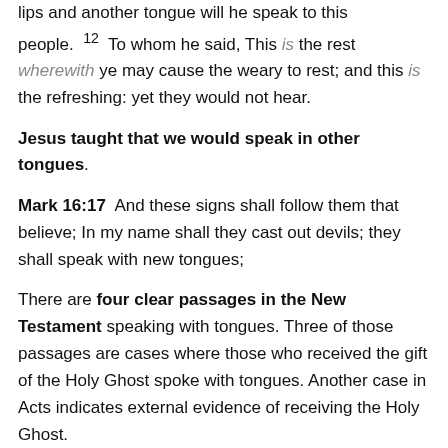lips and another tongue will he speak to this people.¹²  To whom he said, This is the rest wherewith ye may cause the weary to rest; and this is the refreshing: yet they would not hear.
Jesus taught that we would speak in other tongues.
Mark 16:17  And these signs shall follow them that believe; In my name shall they cast out devils; they shall speak with new tongues;
There are four clear passages in the New Testament speaking with tongues. Three of those passages are cases where those who received the gift of the Holy Ghost spoke with tongues. Another case in Acts indicates external evidence of receiving the Holy Ghost.